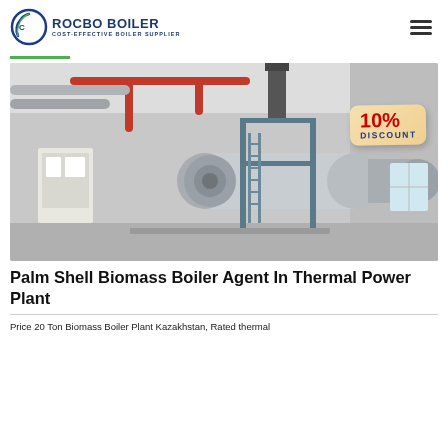ROCBO BOILER COST-EFFECTIVE BOILER SUPPLIER
[Figure (photo): Industrial boiler room featuring a large horizontal steam boiler with blue casing, red overhead pipes, access ladders, and support structure. A 10% DISCOUNT badge overlays the top-right area of the image.]
Palm Shell Biomass Boiler Agent In Thermal Power Plant
Price 20 Ton Biomass Boiler Plant Kazakhstan, Rated thermal